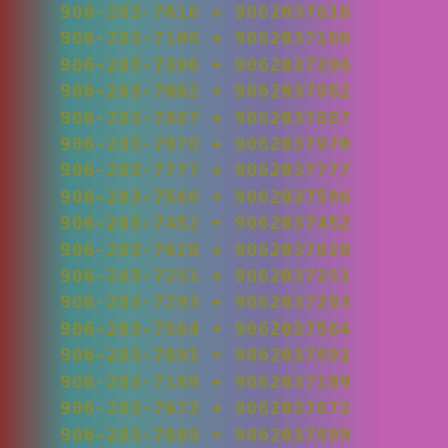906-203-7616 + 9062037616
906-203-7106 + 9062037106
906-203-7396 + 9062037396
906-203-7062 + 9062037062
906-203-7887 + 9062037887
906-203-7970 + 9062037970
906-203-7777 + 9062037777
906-203-7586 + 9062037586
906-203-7452 + 9062037452
906-203-7628 + 9062037628
906-203-7251 + 9062037251
906-203-7293 + 9062037293
906-203-7564 + 9062037564
906-203-7891 + 9062037891
906-203-7189 + 9062037189
906-203-7672 + 9062037672
906-203-7889 + 9062037889
906-203-7532 + 9062037532
906-203-7227 + 9062037227
906-203-7787 + 9062037787
906-203-7625 + 9062037625
906-203-7611 + 9062037611
906-203-7929 + 9062037929